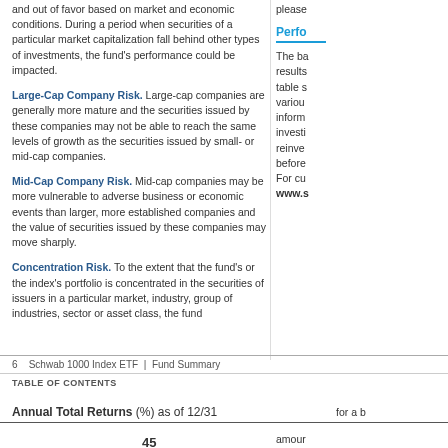and out of favor based on market and economic conditions. During a period when securities of a particular market capitalization fall behind other types of investments, the fund's performance could be impacted.
Large-Cap Company Risk. Large-cap companies are generally more mature and the securities issued by these companies may not be able to reach the same levels of growth as the securities issued by small- or mid-cap companies.
Mid-Cap Company Risk. Mid-cap companies may be more vulnerable to adverse business or economic events than larger, more established companies and the value of securities issued by these companies may move sharply.
Concentration Risk. To the extent that the fund's or the index's portfolio is concentrated in the securities of issuers in a particular market, industry, group of industries, sector or asset class, the fund
please
Perfo
The ba results table s variou inform investi reinve before For cu www.s
6    Schwab 1000 Index ETF  |  Fund Summary
TABLE OF CONTENTS
Annual Total Returns (%) as of 12/31
for a b amour Partici
45